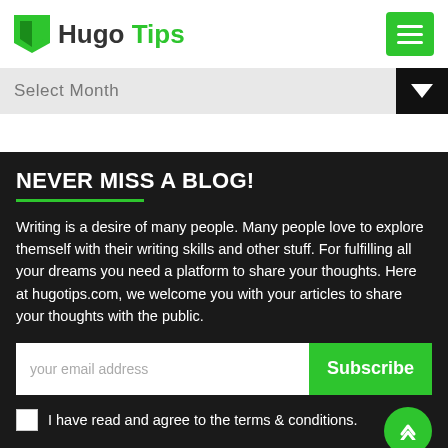Hugo Tips
Select Month
NEVER MISS A BLOG!
Writing is a desire of many people. Many people love to explore themself with their writing skills and other stuff. For fulfilling all your dreams you need a platform to share your thoughts. Here at hugotips.com, we welcome you with your articles to share your thoughts with the public.
your email address
Subscribe
I have read and agree to the terms & conditions.
FAST ACCESS